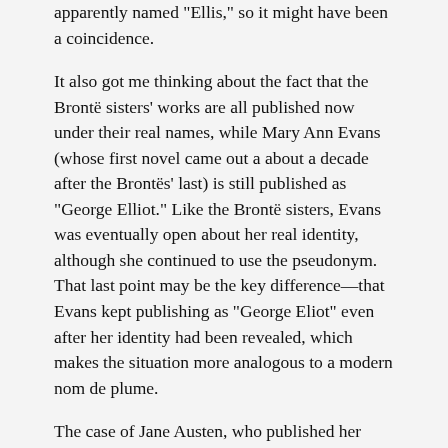apparently named "Ellis," so it might have been a coincidence.
It also got me thinking about the fact that the Brontë sisters' works are all published now under their real names, while Mary Ann Evans (whose first novel came out a about a decade after the Brontës' last) is still published as "George Elliot." Like the Brontë sisters, Evans was eventually open about her real identity, although she continued to use the pseudonym. That last point may be the key difference—that Evans kept publishing as "George Eliot" even after her identity had been revealed, which makes the situation more analogous to a modern nom de plume.
The case of Jane Austen, who published her novels anonymously and did not disguise her sex (Sense and Sensibility was "by a lady"; Pride and Prejudice "by the author of Sense and Sensibility"), are a somewhat different circumstance.
Separately: